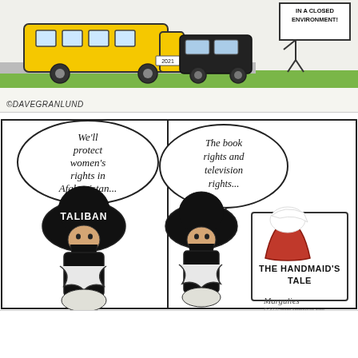[Figure (illustration): Top editorial cartoon showing a school bus and protesters with a sign reading 'IN A CLOSED ENVIRONMENT!' with artist credit ©DaveGranlund]
©DAVEGRANLUND
[Figure (illustration): Middle editorial cartoon by Margulies. Left panel: Taliban figure with speech bubble 'We'll protect women's rights in Afghanistan...' Right panel: same Taliban figure with speech bubble 'The book rights and television rights...' next to a figure dressed as The Handmaid's Tale character with a book cover showing 'THE HANDMAID'S TALE'. Signed 'MARGULIES']
[Figure (illustration): Bottom left partial cartoon with text 'DANGLING COVID RELIEF FUNDS TO BLACKMAIL AFICIONAID']
[Figure (illustration): Bottom right partial cartoon with text 'I ALSO LAUNCHED A $10-MILLION']